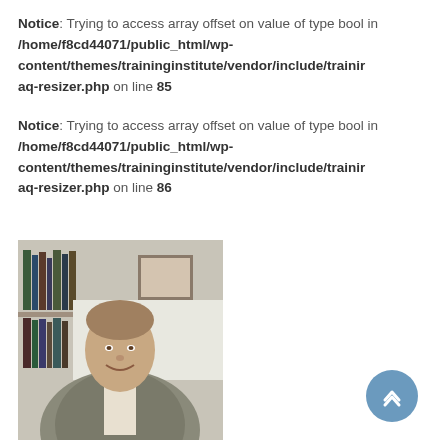Notice: Trying to access array offset on value of type bool in /home/f8cd44071/public_html/wp-content/themes/traininginstitute/vendor/include/trainingaq-resizer.php on line 85
Notice: Trying to access array offset on value of type bool in /home/f8cd44071/public_html/wp-content/themes/traininginstitute/vendor/include/trainingaq-resizer.php on line 86
[Figure (photo): Portrait photo of a middle-aged man in a grey blazer, smiling, standing in front of bookshelves with framed certificates visible in the background.]